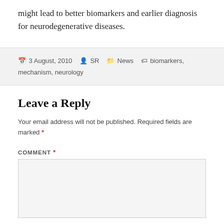might lead to better biomarkers and earlier diagnosis for neurodegenerative diseases.
3 August, 2010  SR  News  biomarkers, mechanism, neurology
Leave a Reply
Your email address will not be published. Required fields are marked *
COMMENT *